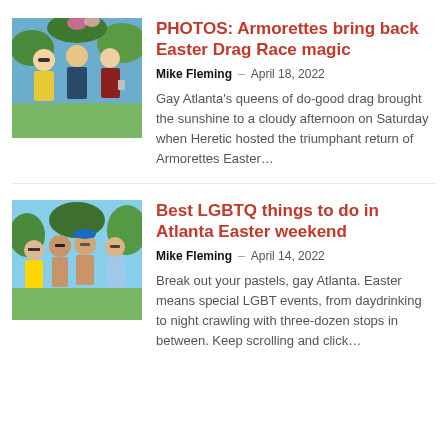[Figure (photo): Three men outdoors at a festive event, one in a yellow shirt and sunglasses, one in a dark shirt, one in a maroon top holding a drink, with colorful decorations in the background.]
PHOTOS: Armorettes bring back Easter Drag Race magic
Mike Fleming – April 18, 2022
Gay Atlanta's queens of do-good drag brought the sunshine to a cloudy afternoon on Saturday when Heretic hosted the triumphant return of Armorettes Easter…
[Figure (photo): Group of men outdoors at a sunny event, some shirtless, wearing sunglasses, smiling at camera with trees in background.]
Best LGBTQ things to do in Atlanta Easter weekend
Mike Fleming – April 14, 2022
Break out your pastels, gay Atlanta. Easter means special LGBT events, from daydrinking to night crawling with three-dozen stops in between. Keep scrolling and click…